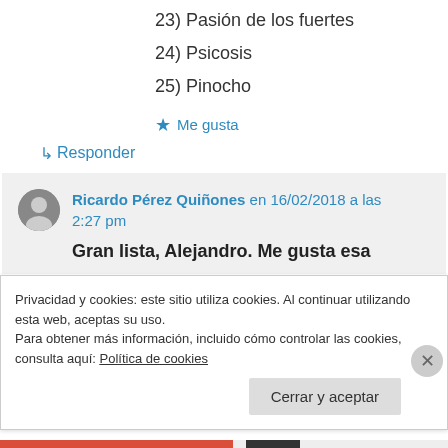23) Pasión de los fuertes
24) Psicosis
25) Pinocho
★ Me gusta
↳ Responder
Ricardo Pérez Quiñones en 16/02/2018 a las 2:27 pm
Gran lista, Alejandro. Me gusta esa
Privacidad y cookies: este sitio utiliza cookies. Al continuar utilizando esta web, aceptas su uso.
Para obtener más información, incluido cómo controlar las cookies, consulta aquí: Política de cookies